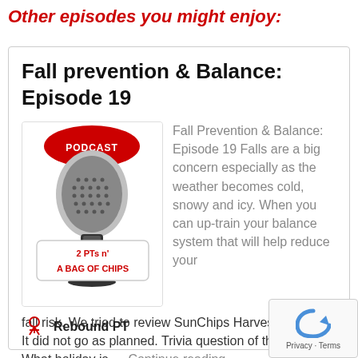Other episodes you might enjoy:
Fall prevention & Balance: Episode 19
[Figure (illustration): Podcast microphone graphic with 'PODCAST' text on top banner and '2 PTs n' A BAG OF CHIPS' text on a label in front of the microphone]
Fall Prevention & Balance: Episode 19 Falls are a big concern especially as the weather becomes cold, snowy and icy. When you can up-train your balance system that will help reduce your fall risk. We tried to review SunChips Harvest Cheddar. It did not go as planned. Trivia question of the week: What holiday is … Continue reading
Rebound PT